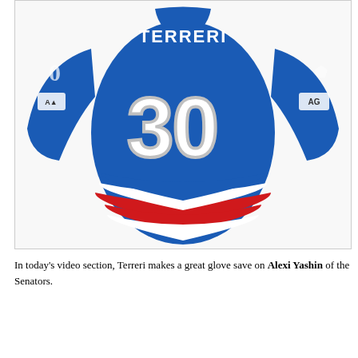[Figure (photo): Back view of a blue hockey jersey with the name TERRERI and number 30, featuring red and white stripes at the bottom hem and sponsor patches on the sleeves.]
In today's video section, Terreri makes a great glove save on Alexi Yashin of the Senators.